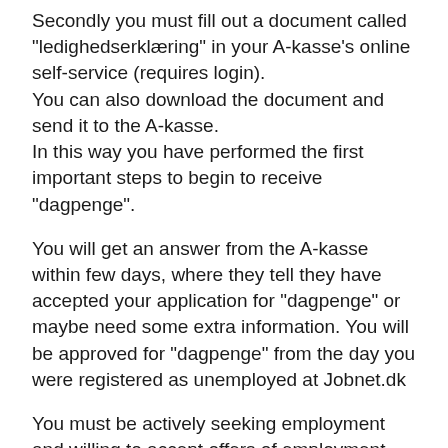Secondly you must fill out a document called "ledighedserklæring" in your A-kasse's online self-service (requires login).
You can also download the document and send it to the A-kasse.
In this way you have performed the first important steps to begin to receive "dagpenge".
You will get an answer from the A-kasse within few days, where they tell they have accepted your application for "dagpenge" or maybe need some extra information. You will be approved for "dagpenge" from the day you were registered as unemployed at Jobnet.dk
You must be actively seeking employment and willing to accept offers of employment when you are unemployed and receiving unemployment benefits.